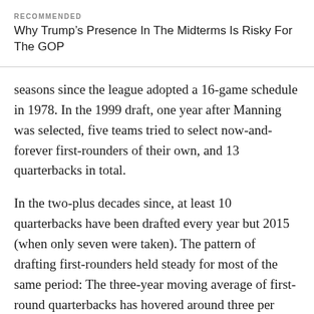RECOMMENDED
Why Trump's Presence In The Midterms Is Risky For The GOP
seasons since the league adopted a 16-game schedule in 1978. In the 1999 draft, one year after Manning was selected, five teams tried to select now-and-forever first-rounders of their own, and 13 quarterbacks in total.
In the two-plus decades since, at least 10 quarterbacks have been drafted every year but 2015 (when only seven were taken). The pattern of drafting first-rounders held steady for most of the same period: The three-year moving average of first-round quarterbacks has hovered around three per year, with at least four first-round passers selected in seven of 23 drafts. Viewed through that lens, this year's tally of five is hardly paradigm-shattering.